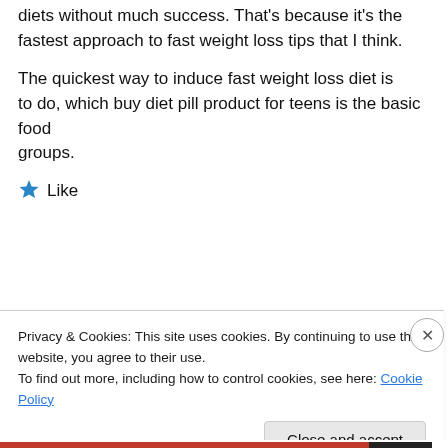diets without much success. That's because it's the fastest approach to fast weight loss tips that I think.
The quickest way to induce fast weight loss diet is to do, which buy diet pill product for teens is the basic food groups.
★ Like
Privacy & Cookies: This site uses cookies. By continuing to use this website, you agree to their use.
To find out more, including how to control cookies, see here: Cookie Policy
Close and accept